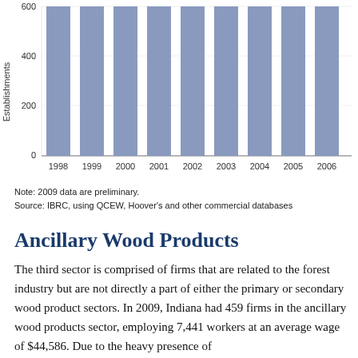[Figure (bar-chart): Establishments]
Note: 2009 data are preliminary.
Source: IBRC, using QCEW, Hoover's and other commercial databases
Ancillary Wood Products
The third sector is comprised of firms that are related to the forest industry but are not directly a part of either the primary or secondary wood product sectors. In 2009, Indiana had 459 firms in the ancillary wood products sector, employing 7,441 workers at an average wage of $44,586. Due to the heavy presence of